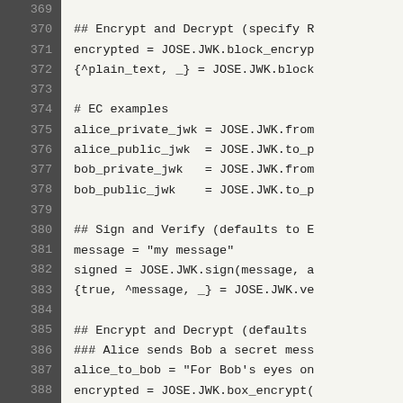Code listing lines 369-390: Elixir JOSE.JWK encryption/decryption and signing examples